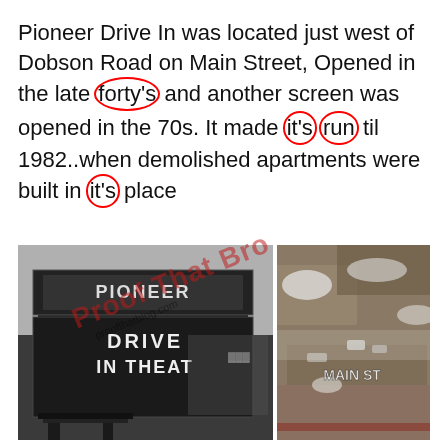Pioneer Drive In was located just west of Dobson Road on Main Street, Opened in the late forty's and another screen was opened in the 70s. It made it's run til 1982..when demolished apartments were built in it's place
[Figure (photo): Two side-by-side photos: left shows a black-and-white image of a Pioneer Drive In Theatre sign/marquee; right shows an aerial color photograph of the area with 'MAIN ST' text visible. A red diagonal watermark reading 'Proof That Bro...' and 'proofthatblog.com' overlays the images.]